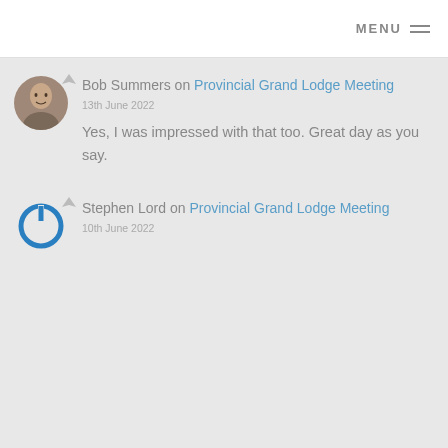MENU
[Figure (photo): User avatar - photo of a man]
Bob Summers on Provincial Grand Lodge Meeting
13th June 2022
Yes, I was impressed with that too. Great day as you say.
[Figure (logo): Blue power button icon avatar for Stephen Lord]
Stephen Lord on Provincial Grand Lodge Meeting
10th June 2022